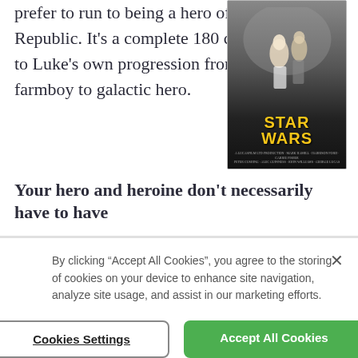prefer to run to being a hero of the Republic. It's a complete 180 compared to Luke's own progression from farmboy to galactic hero.
[Figure (photo): Star Wars movie poster showing figures and the Star Wars logo]
Your hero and heroine don't necessarily have to have
By clicking “Accept All Cookies”, you agree to the storing of cookies on your device to enhance site navigation, analyze site usage, and assist in our marketing efforts.
Cookies Settings
Accept All Cookies